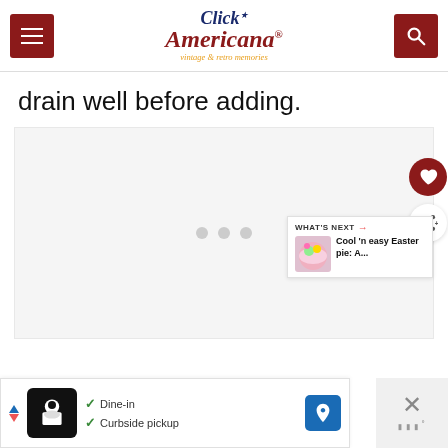Click Americana — vintage & retro memories
drain well before adding.
[Figure (other): Large image placeholder area with three dots loading indicator]
WHAT'S NEXT → Cool 'n easy Easter pie: A...
[Figure (photo): Small thumbnail of a colorful Easter pie with pink frosting]
Dine-in  Curbside pickup — Ad banner with restaurant logos and map icon